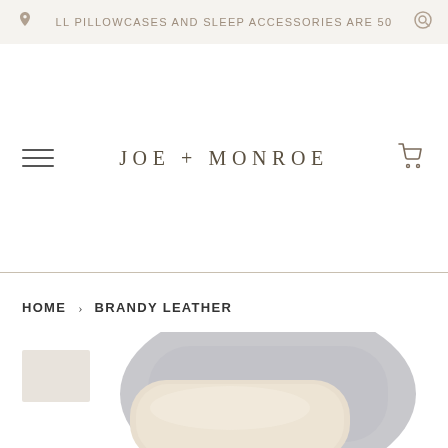LL PILLOWCASES AND SLEEP ACCESSORIES ARE 50
JOE + MONROE
HOME › BRANDY LEATHER
[Figure (photo): Product photo of a leather pillow or cushion with a rounded rectangular shape, showing a creamy/beige front panel against a light gray/silver back, photographed from a slightly elevated angle on a white background. A small thumbnail image appears in the upper-left corner of the product section.]